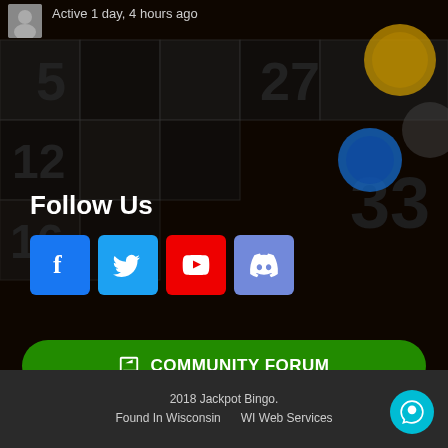Active 1 day, 4 hours ago
Follow Us
[Figure (infographic): Social media icons: Facebook (blue), Twitter (light blue), YouTube (red), Discord (purple/blue)]
COMMUNITY FORUM
OPC MEMBERS FORUM
BAR BINGO REWARDS (PUNCH CARD)
2018 Jackpot Bingo. Found In Wisconsin   WI Web Services